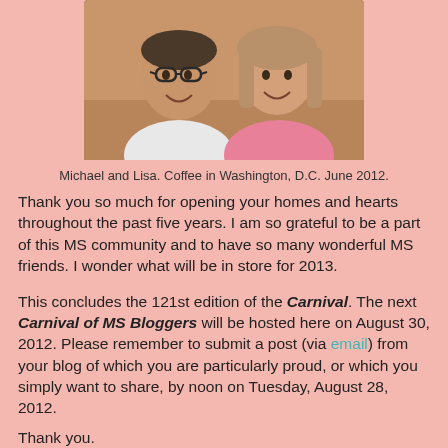[Figure (photo): Photo of two people, Michael and Lisa, sitting together smiling. A man with glasses on the left in a white shirt, and a woman on the right in a pink top.]
Michael and Lisa.  Coffee in Washington, D.C.  June 2012.
Thank you so much for opening your homes and hearts throughout the past five years.  I am so grateful to be a part of this MS community and to have so many wonderful MS friends.  I wonder what will be in store for 2013.
This concludes the 121st edition of the Carnival.  The next Carnival of MS Bloggers will be hosted here on August 30, 2012. Please remember to submit a post (via email) from your blog of which you are particularly proud, or which you simply want to share, by noon on Tuesday, August 28, 2012.
Thank you.
Comments for this post.